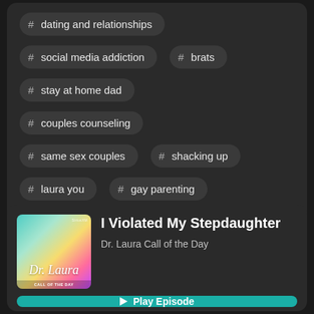# dating and relationships
# social media addiction
# brats
# stay at home dad
# couples counseling
# same sex couples
# shacking up
# laura you
# gay parenting
I Violated My Stepdaughter
Dr. Laura Call of the Day
Play Episode